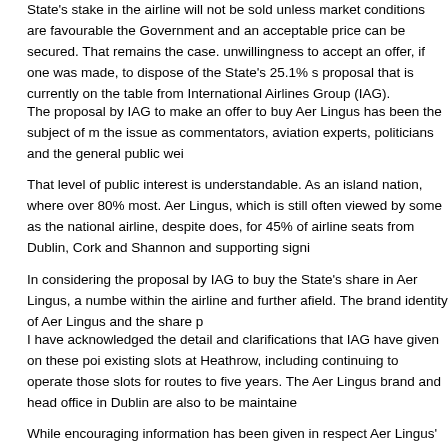State's stake in the airline will not be sold unless market conditions are favourable the Government and an acceptable price can be secured. That remains the case. unwillingness to accept an offer, if one was made, to dispose of the State's 25.1% s proposal that is currently on the table from International Airlines Group (IAG).
The proposal by IAG to make an offer to buy Aer Lingus has been the subject of m the issue as commentators, aviation experts, politicians and the general public wei
That level of public interest is understandable. As an island nation, where over 80% most. Aer Lingus, which is still often viewed by some as the national airline, despite does, for 45% of airline seats from Dublin, Cork and Shannon and supporting signi
In considering the proposal by IAG to buy the State's share in Aer Lingus, a numbe within the airline and further afield. The brand identity of Aer Lingus and the share p
I have acknowledged the detail and clarifications that IAG have given on these poi existing slots at Heathrow, including continuing to operate those slots for routes to five years. The Aer Lingus brand and head office in Dublin are also to be maintaine
While encouraging information has been given in respect Aer Lingus' future employ